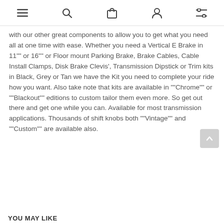[navigation bar with menu, search, cart, account, filter icons]
with our other great components to allow you to get what you need all at one time with ease. Whether you need a Vertical E Brake in 11"" or 16"" or Floor mount Parking Brake, Brake Cables, Cable Install Clamps, Disk Brake Clevis', Transmission Dipstick or Trim kits in Black, Grey or Tan we have the Kit you need to complete your ride how you want. Also take note that kits are available in ""Chrome"" or ""Blackout"" editions to custom tailor them even more. So get out there and get one while you can. Available for most transmission applications. Thousands of shift knobs both ""Vintage"" and ""Custom"" are available also.
YOU MAY LIKE